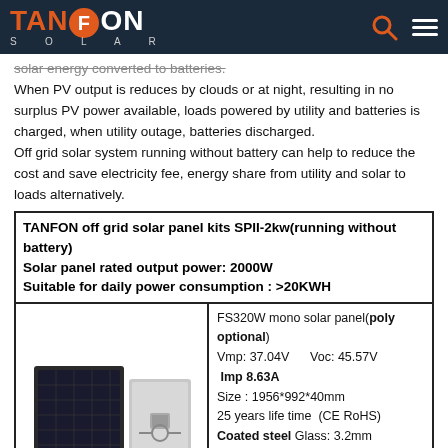TANFON SOLAR
solar energy converted to batteries.
When PV output is reduces by clouds or at night, resulting in no surplus PV power available, loads powered by utility and batteries is charged, when utility outage, batteries discharged.
Off grid solar system running without battery can help to reduce the cost and save electricity fee, energy share from utility and solar to loads alternatively.
| TANFON off grid solar panel kits SPII-2kw(running without battery)
Solar panel rated output power: 2000W
Suitable for daily power consumption : >20KWH |
| --- |
| [solar panel image] | FS320W mono solar panel(poly optional)
Vmp: 37.04V      Voc: 45.57V
Imp 8.63A
Size : 1956*992*40mm
25 years life time  (CE RoHS)
Coated steel Glass: 3.2mm
Tempered
Terminal block: IP65 with MC4 |